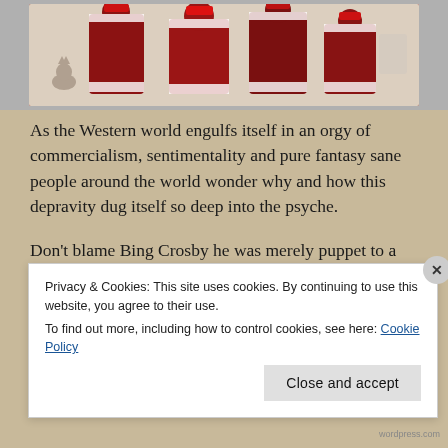[Figure (photo): Partial photo showing people in red and white Christmas costumes, likely Santas or holiday figures, cropped at top of page]
As the Western world engulfs itself in an orgy of commercialism, sentimentality and pure fantasy sane people around the world wonder why and how this depravity dug itself so deep into the psyche.
Don't blame Bing Crosby he was merely puppet to a propaganda machine, Hollywood, controlled then as now by psychotic, power crazed lunatics believing they to be the Chosen People.
Privacy & Cookies: This site uses cookies. By continuing to use this website, you agree to their use.
To find out more, including how to control cookies, see here: Cookie Policy
Close and accept